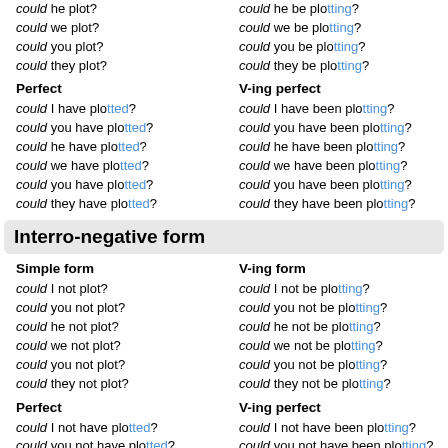could he plot?
could we plot?
could you plot?
could they plot?
Perfect
could I have plotted?
could you have plotted?
could he have plotted?
could we have plotted?
could you have plotted?
could they have plotted?
could he be plotting?
could we be plotting?
could you be plotting?
could they be plotting?
V-ing perfect
could I have been plotting?
could you have been plotting?
could he have been plotting?
could we have been plotting?
could you have been plotting?
could they have been plotting?
Interro-negative form
Simple form
could I not plot?
could you not plot?
could he not plot?
could we not plot?
could you not plot?
could they not plot?
V-ing form
could I not be plotting?
could you not be plotting?
could he not be plotting?
could we not be plotting?
could you not be plotting?
could they not be plotting?
Perfect
V-ing perfect
could I not have plotted?
could you not have plotted?
could he not have plotted?
could I not have been plotting?
could you not have been plotting?
could he not have been plotting?